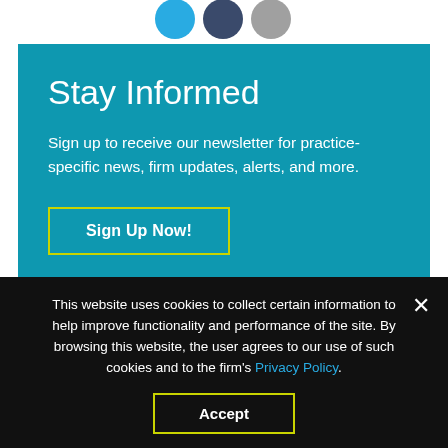[Figure (illustration): Three social media icon circles: cyan, navy, and gray]
Stay Informed
Sign up to receive our newsletter for practice-specific news, firm updates, alerts, and more.
Sign Up Now!
This website uses cookies to collect certain information to help improve functionality and performance of the site. By browsing this website, the user agrees to our use of such cookies and to the firm's Privacy Policy.
Accept